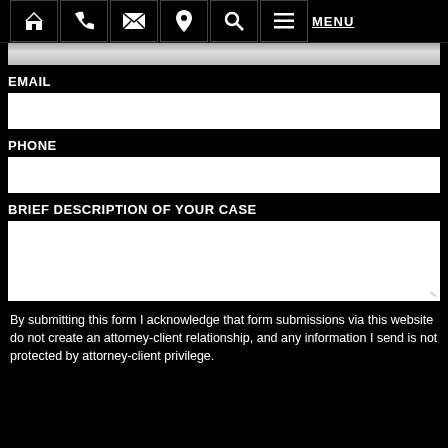HOME PHONE EMAIL LOCATION SEARCH MENU
EMAIL
PHONE
BRIEF DESCRIPTION OF YOUR CASE
By submitting this form I acknowledge that form submissions via this website do not create an attorney-client relationship, and any information I send is not protected by attorney-client privilege.